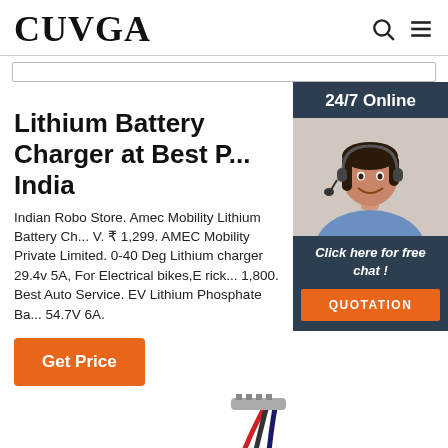CUVGA
Lithium Battery Charger at Best P... India
Indian Robo Store. Amec Mobility Lithium Battery Ch... V. ₹ 1,299. AMEC Mobility Private Limited. 0-40 Deg Lithium charger 29.4v 5A, For Electrical bikes,E rick... 1,800. Best Auto Service. EV Lithium Phosphate Ba... 54.7V 6A.
[Figure (photo): Customer service representative woman wearing headset, smiling, with 24/7 Online label and chat widget overlay]
[Figure (photo): Lithium battery charger product photo showing cables/wires]